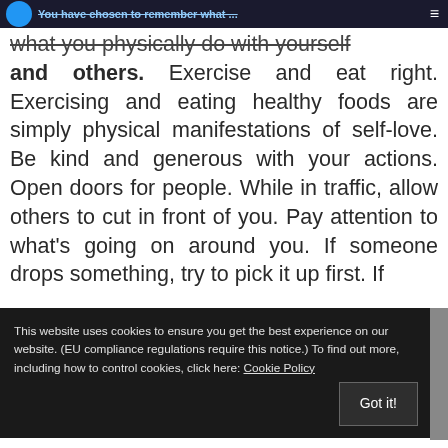You have chosen to remember what you physically do with yourself and others.
what you physically do with yourself and others. Exercise and eat right. Exercising and eating healthy foods are simply physical manifestations of self-love. Be kind and generous with your actions. Open doors for people. While in traffic, allow others to cut in front of you. Pay attention to what's going on around you. If someone drops something, try to pick it up first. If
This website uses cookies to ensure you get the best experience on our website. (EU compliance regulations require this notice.) To find out more, including how to control cookies, click here: Cookie Policy
to fool the kindness and generosity of